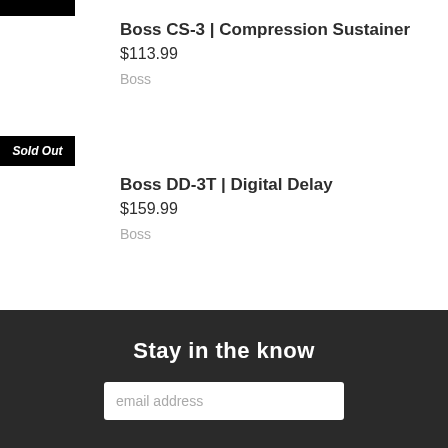[Figure (other): Black bar partially visible at top left corner]
Boss CS-3 | Compression Sustainer
$113.99
Boss
Sold Out
Boss DD-3T | Digital Delay
$159.99
Boss
Stay in the know
email address